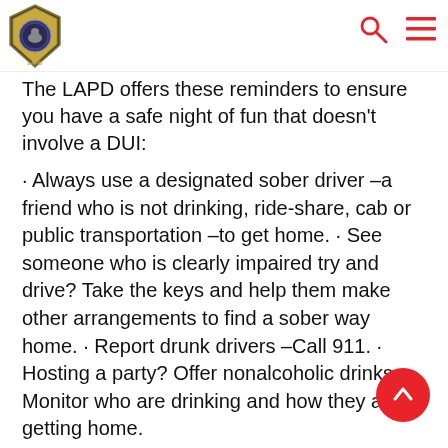LAPD logo, search icon, menu icon
The LAPD offers these reminders to ensure you have a safe night of fun that doesn't involve a DUI:
· Always use a designated sober driver –a friend who is not drinking, ride-share, cab or public transportation –to get home. · See someone who is clearly impaired try and drive? Take the keys and help them make other arrangements to find a sober way home. · Report drunk drivers –Call 911. · Hosting a party? Offer nonalcoholic drinks. Monitor who are drinking and how they are getting home.
Getting home safely is cheap, but getting a DUI is not! Drivers caught driving impaired and charged